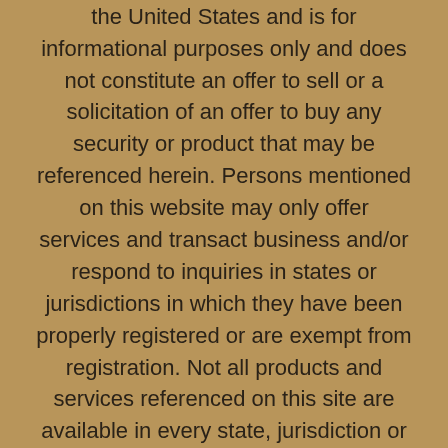This site is published for residents of the United States and is for informational purposes only and does not constitute an offer to sell or a solicitation of an offer to buy any security or product that may be referenced herein. Persons mentioned on this website may only offer services and transact business and/or respond to inquiries in states or jurisdictions in which they have been properly registered or are exempt from registration. Not all products and services referenced on this site are available in every state, jurisdiction or from every person listed.